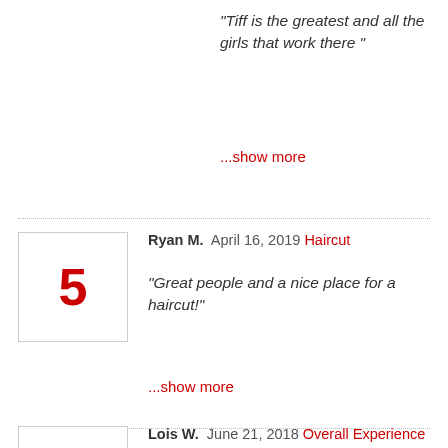"Tiff is the greatest and all the girls that work there "
...show more
Ryan M.  April 16, 2019  Haircut
"Great people and a nice place for a haircut!"
...show more
Lois W.  June 21, 2018  Overall Experience
"An awesome place to work. From district to store managers. I love